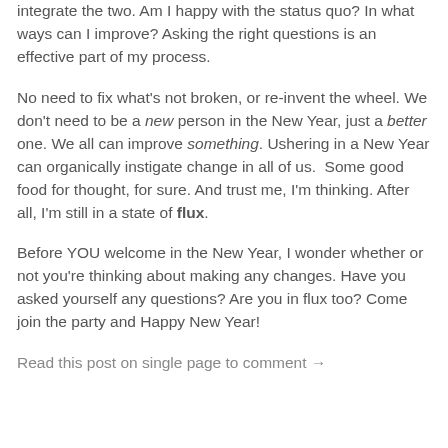integrate the two.  Am I happy with the status quo?  In what ways can I improve?  Asking the right questions is an effective part of my process.
No need to fix what’s not broken, or re-invent the wheel.  We don’t need to be a new person in the New Year, just a better one. We all can improve something. Ushering in a New Year can organically instigate change in all of us.  Some good food for thought, for sure.  And trust me, I’m thinking.  After all, I’m still in a state of flux.
Before YOU welcome in the New Year, I wonder whether or not you’re thinking about making any changes.  Have you asked yourself any questions?  Are you in flux too?  Come join the party and Happy New Year!
Read this post on single page to comment →